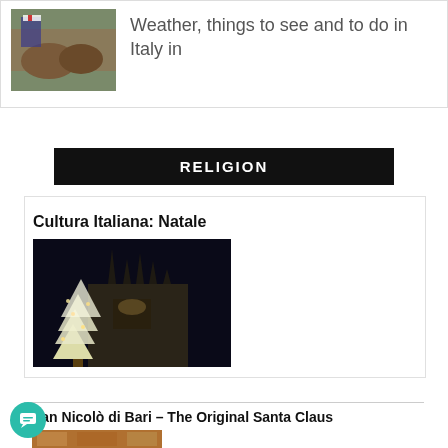[Figure (photo): Horse racing photo with jockey wearing striped colors]
Weather, things to see and to do in Italy in
RELIGION
Cultura Italiana: Natale
[Figure (photo): Night photo of illuminated Christmas tree and Milan Cathedral (Duomo) with Gothic spires]
San Nicolò di Bari – The Original Santa Claus
[Figure (photo): Religious icon painting depicting San Nicolò di Bari]